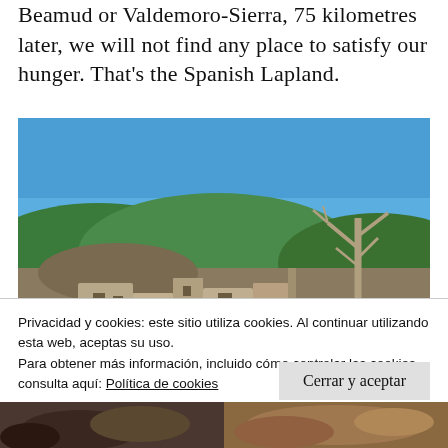Beamud or Valdemoro-Sierra, 75 kilometres later, we will not find any place to satisfy our hunger. That's the Spanish Lapland.
[Figure (photo): Landscape photo of stone ruins with a cow grazing on green grass in the foreground, a bare dead tree on the right, and a forested hillside under a blue sky in the background.]
Privacidad y cookies: este sitio utiliza cookies. Al continuar utilizando esta web, aceptas su uso.
Para obtener más información, incluido cómo controlar las cookies, consulta aquí: Política de cookies
Cerrar y aceptar
[Figure (photo): Two partial thumbnail photos at the bottom of the page, one on the left showing animals (dark tones) and one on the right showing food or natural object (warm brown tones).]